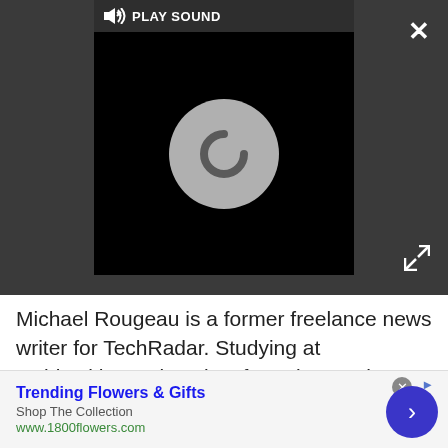[Figure (screenshot): Video player with dark background, PLAY SOUND button at top, and a loading spinner (grey circle with curved arrow) in the center. Close (X) button top right, expand button bottom right.]
Michael Rougeau is a former freelance news writer for TechRadar. Studying at Goldsmiths, University of London, and Northeastern University, Michael has bylines at Kotaku, 1UP, G4, Complex Magazine, Digital Trends, GamesRadar, GameSpot, IFC, Animal New York, @Gamer, Inside the Magic, Comic Book Resources, Zap2It, TabTimes, GameZone, Cheat Code Central, Gameshark, Gameranx, The Industry, Debonair Mag, Kombo, and others.
[Figure (screenshot): Advertisement banner for Trending Flowers & Gifts from 1800flowers.com with a blue circular arrow button on the right.]